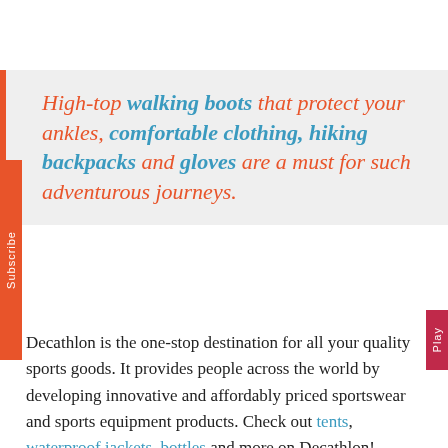High-top walking boots that protect your ankles, comfortable clothing, hiking backpacks and gloves are a must for such adventurous journeys.
Decathlon is the one-stop destination for all your quality sports goods. It provides people across the world by developing innovative and affordably priced sportswear and sports equipment products. Check out tents, waterproof jackets, bottles and more on Decathlon!